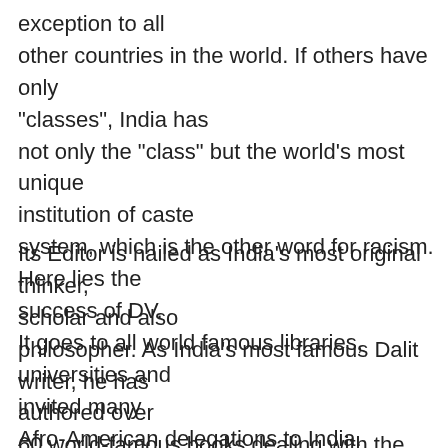exception to all other countries in the world. If others have only "classes", India has not only the "class" but the world's most unique institution of caste system, which is the other word for racism. Here lies the success of DV. It goes to all world famous libraries, universities and invited many Afro-American delegations to India.
Its Editor is hailed as India's most original thinker, scholar and also philosopher. As India's most famous Dalit writer, he has authored over 60 world-famous books dealing with the problems of caste, ethnicity, Muslims, Christian, Sikhs, Marxism, Brahminism, Racism, Gandhism